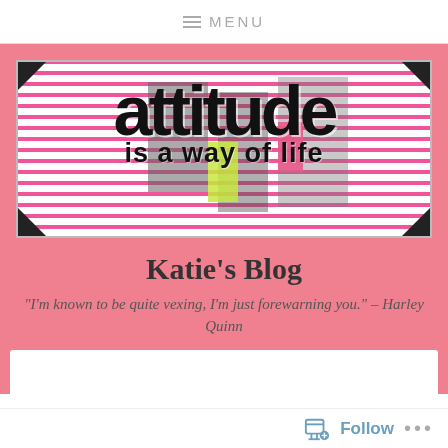≡ MENU
[Figure (illustration): Blog banner image showing the text 'attitude is a way of life' in bold black font on a striped pink and white background with corner brackets]
Katie's Blog
"I'm known to be quite vexing, I'm just forewarning you." – Harley Quinn
Follow ...